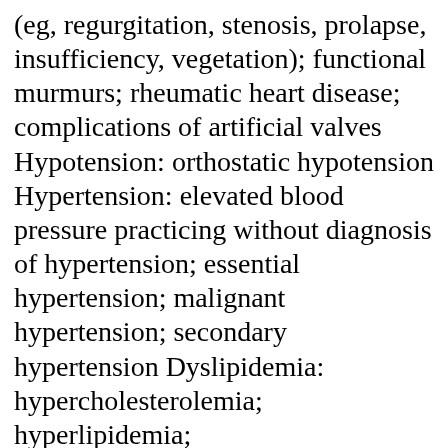(eg, regurgitation, stenosis, prolapse, insufficiency, vegetation); functional murmurs; rheumatic heart disease; complications of artificial valves Hypotension: orthostatic hypotension Hypertension: elevated blood pressure practicing without diagnosis of hypertension; essential hypertension; malignant hypertension; secondary hypertension Dyslipidemia: hypercholesterolemia; hyperlipidemia; hypertriglyceridemia; lipoproteins/lipoprotein lipase deficiency Vascular disorders disorders of the great vessels: aneurysm, aortic (abdominal/thoracic), dissection, ruptured; aneurysm, iliac, other peripheral vascular,